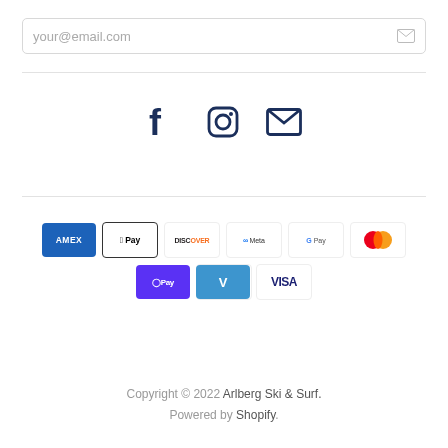[Figure (screenshot): Email input field with placeholder text 'your@email.com' and envelope icon on right]
[Figure (infographic): Social media icons row: Facebook, Instagram, Email]
[Figure (infographic): Payment method logos: AMEX, Apple Pay, Discover, Meta Pay, Google Pay, Mastercard, PayPal, Shop Pay, Venmo, Visa]
Copyright © 2022 Arlberg Ski & Surf.
Powered by Shopify.